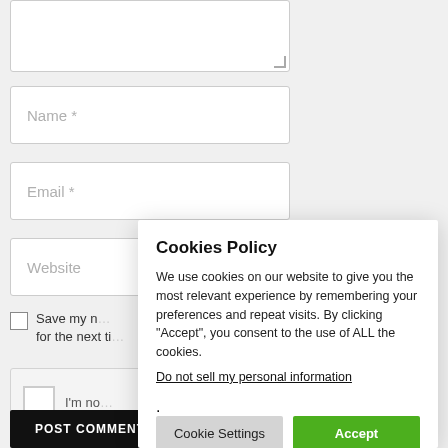[Figure (screenshot): A web form with textarea, Name, Email, Website input fields, a save my name checkbox, a reCAPTCHA widget, and a POST COMMENT button on a light gray background.]
[Figure (screenshot): Cookies Policy modal dialog with title 'Cookies Policy', body text about cookie usage, a 'Do not sell my personal information' link, and two buttons: 'Cookie Settings' and 'Accept'.]